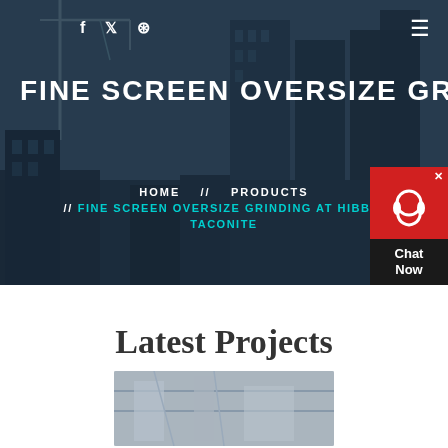f  🐦  ⊕   ≡
FINE SCREEN OVERSIZE GRINDI…
HOME // PRODUCTS // FINE SCREEN OVERSIZE GRINDING AT HIBBING TACONITE
[Figure (infographic): Chat widget with red headset icon and 'Chat Now' text on dark background]
Latest Projects
[Figure (photo): Industrial facility interior showing machinery and structural beams]